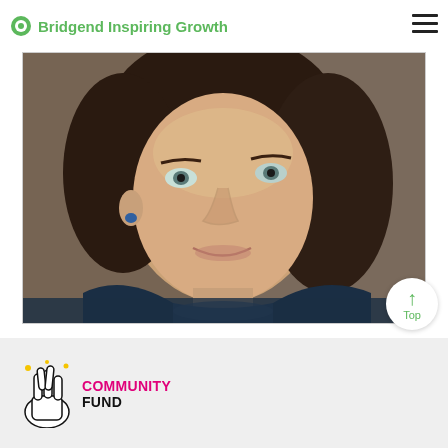Bridgend Inspiring Growth
[Figure (photo): Close-up portrait photo of a woman with short dark hair, blue eyes, small blue stud earring, wearing a dark navy jacket and patterned scarf, smiling slightly, looking upward to the left.]
[Figure (logo): National Lottery Community Fund logo — hand with crossed fingers icon alongside COMMUNITY FUND text in pink and black.]